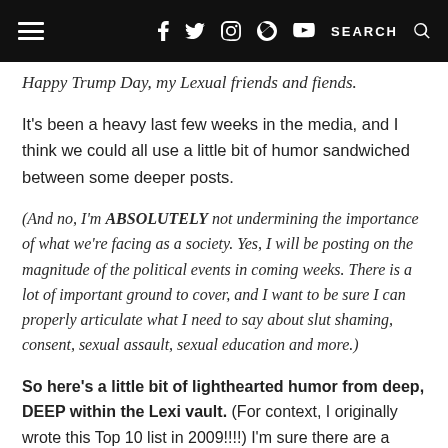≡  f  Twitter  Instagram  Pinterest  YouTube  SEARCH
Happy Trump Day, my Lexual friends and fiends.
It's been a heavy last few weeks in the media, and I think we could all use a little bit of humor sandwiched between some deeper posts.
(And no, I'm ABSOLUTELY not undermining the importance of what we're facing as a society. Yes, I will be posting on the magnitude of the political events in coming weeks. There is a lot of important ground to cover, and I want to be sure I can properly articulate what I need to say about slut shaming, consent, sexual assault, sexual education and more.)
So here's a little bit of lighthearted humor from deep, DEEP within the Lexi vault. (For context, I originally wrote this Top 10 list in 2009!!!!) I'm sure there are a bunch more I could add to this now, but I